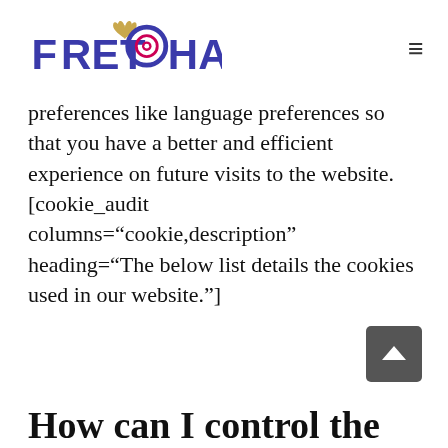FRETCHA
preferences like language preferences so that you have a better and efficient experience on future visits to the website.
[cookie_audit columns="cookie,description" heading="The below list details the cookies used in our website."]
How can I control the